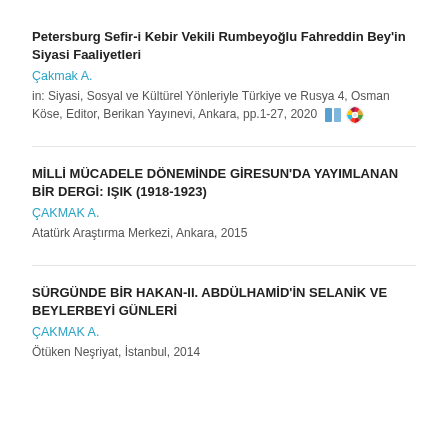Petersburg Sefir-i Kebir Vekili Rumbeyoğlu Fahreddin Bey'in Siyasi Faaliyetleri
Çakmak A.
in: Siyasi, Sosyal ve Kültürel Yönleriyle Türkiye ve Rusya 4, Osman Köse, Editor, Berikan Yayınevi, Ankara, pp.1-27, 2020
MİLLİ MÜCADELE DÖNEMİNDE GİRESUN'DA YAYIMLANAN BİR DERGİ: IŞIK (1918-1923)
ÇAKMAK A.
Atatürk Araştırma Merkezi, Ankara, 2015
SÜRGÜNDE BİR HAKAN-II. ABDÜLHAMİD'İN SELANİK VE BEYLERBEYİ GÜNLERİ
ÇAKMAK A.
Ötüken Neşriyat, İstanbul, 2014